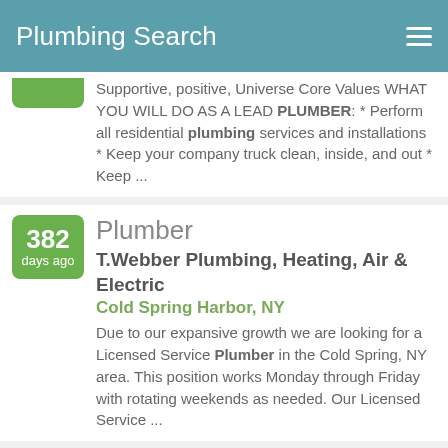Plumbing Search
Supportive, positive, Universe Core Values WHAT YOU WILL DO AS A LEAD PLUMBER: * Perform all residential plumbing services and installations * Keep your company truck clean, inside, and out * Keep ...
382 days ago
Plumber
T.Webber Plumbing, Heating, Air & Electric
Cold Spring Harbor, NY
Due to our expansive growth we are looking for a Licensed Service Plumber in the Cold Spring, NY area. This position works Monday through Friday with rotating weekends as needed. Our Licensed Service ...
109 days ago
service plumber